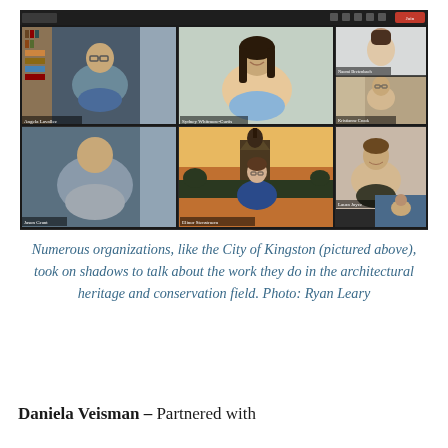[Figure (screenshot): A video call screenshot showing six participants in a grid layout. The top row has three people: a woman with short hair and glasses in a home office, a smiling woman with long dark hair, and a young woman against a plain background. The bottom row shows: a man in a grey shirt, a woman standing outdoors in front of a historic domed building at sunset, and a smiling young woman.]
Numerous organizations, like the City of Kingston (pictured above), took on shadows to talk about the work they do in the architectural heritage and conservation field. Photo: Ryan Leary
Daniela Veisman – Partnered with